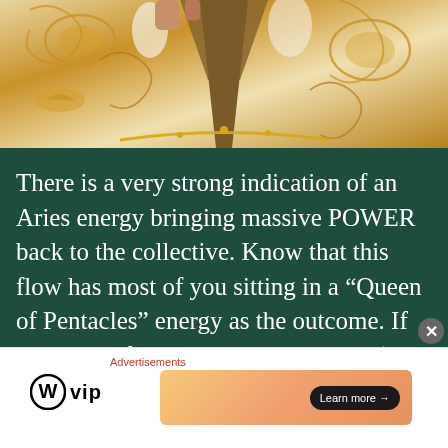[Figure (photo): Person wearing a white and gold baroque/ornate patterned robe or jacket with gold chain jewelry, hand raised]
There is a very strong indication of an Aries energy bringing massive POWER back to the collective. Know that this flow has most of you sitting in a “Queen of Pentacles” energy as the outcome. If you aren’t familiar with the Big QP (my personal reference for her, lol 😝) please research this tarot card.
Advertisements
[Figure (logo): WordPress W logo followed by 'vip' text — WordPress VIP branding]
[Figure (other): Orange/peach gradient advertisement banner with 'Learn more →' button]